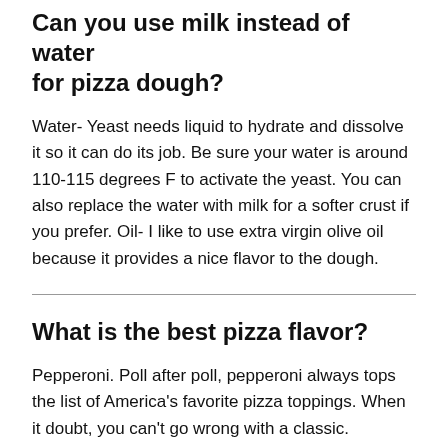Can you use milk instead of water for pizza dough?
Water- Yeast needs liquid to hydrate and dissolve it so it can do its job. Be sure your water is around 110-115 degrees F to activate the yeast. You can also replace the water with milk for a softer crust if you prefer. Oil- I like to use extra virgin olive oil because it provides a nice flavor to the dough.
What is the best pizza flavor?
Pepperoni. Poll after poll, pepperoni always tops the list of America's favorite pizza toppings. When it doubt, you can't go wrong with a classic.